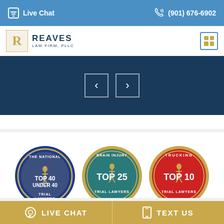Live Chat   (901) 676-6902
[Figure (logo): Reaves Law Firm, PLLC logo with stylized R emblem and firm name]
[Figure (screenshot): Dark navy blue slider/hero area with left and right navigation arrow buttons]
[Figure (infographic): Three circular award badges: 'The National Top 40 Under 40 Trial Lawyers', 'Brain Injury Top 25 Trial Lawyers', and 'Trucking Top 10 Trial Lawyers']
LIVE CHAT   TEXT US